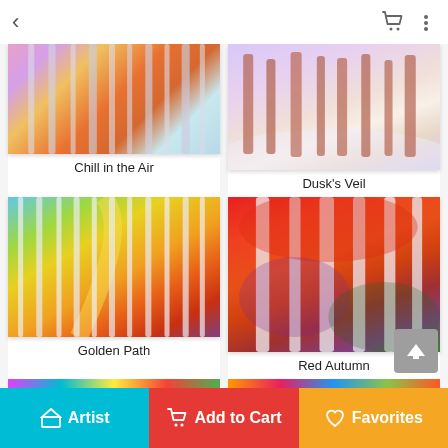< [back] [cart] [more]
[Figure (photo): Colorful impressionist painting of birch trees in autumn with warm red, yellow and purple tones]
Chill in the Air
[Figure (photo): Impressionist painting of winter trees with snow and cool lavender-blue shadows]
Dusk's Veil
[Figure (photo): Vibrant impressionist painting of a golden autumn path through birch trees with bright yellows, oranges and reds]
Golden Path
[Figure (photo): Impressionist painting of birch trees in vivid red autumn foliage with purple and green accents]
Red Autumn
[Figure (photo): Partial view of colorful painting at bottom left, mostly cut off]
[Figure (photo): Partial view of colorful painting at bottom right, mostly cut off]
Artist | Add to Cart | Favorites